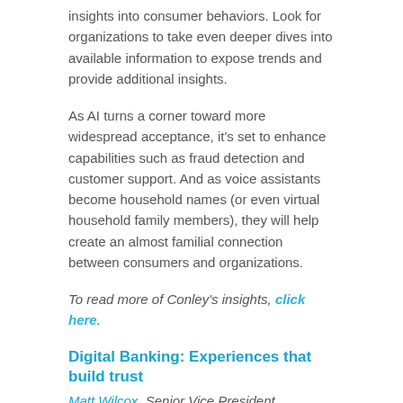insights into consumer behaviors. Look for organizations to take even deeper dives into available information to expose trends and provide additional insights.
As AI turns a corner toward more widespread acceptance, it's set to enhance capabilities such as fraud detection and customer support. And as voice assistants become household names (or even virtual household family members), they will help create an almost familial connection between consumers and organizations.
To read more of Conley's insights, click here.
Digital Banking: Experiences that build trust
Matt Wilcox, Senior Vice President, Marketing, Strategy and Innovation, Digital Banking
Perfecting the user experience will drive digital banking developments in 2018. A seamless, secure and hassle-free experience will build digital trust worth its weight or more in gold in terms of driving customer engagement and loyalty.